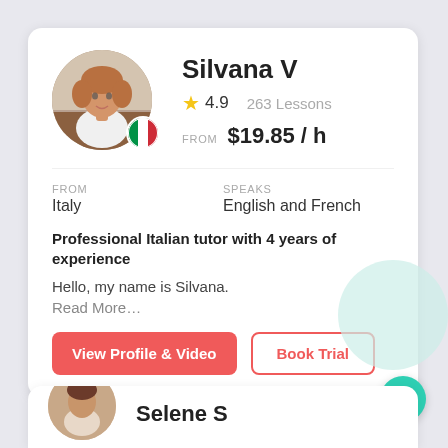[Figure (photo): Circular profile photo of tutor Silvana V, a woman in a white shirt seated at a table, with Italian flag badge overlay]
Silvana V
4.9   263 Lessons
FROM   $19.85 / h
FROM
Italy
SPEAKS
English and French
Professional Italian tutor with 4 years of experience
Hello, my name is Silvana.
Read More…
View Profile & Video
Book Trial
[Figure (photo): Partial circular profile photo of second tutor Selene S at the bottom of the page]